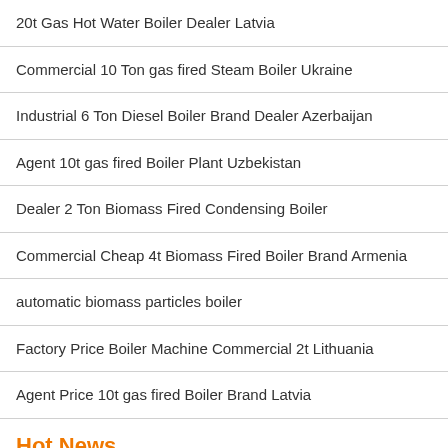20t Gas Hot Water Boiler Dealer Latvia
Commercial 10 Ton gas fired Steam Boiler Ukraine
Industrial 6 Ton Diesel Boiler Brand Dealer Azerbaijan
Agent 10t gas fired Boiler Plant Uzbekistan
Dealer 2 Ton Biomass Fired Condensing Boiler
Commercial Cheap 4t Biomass Fired Boiler Brand Armenia
automatic biomass particles boiler
Factory Price Boiler Machine Commercial 2t Lithuania
Agent Price 10t gas fired Boiler Brand Latvia
Hot News